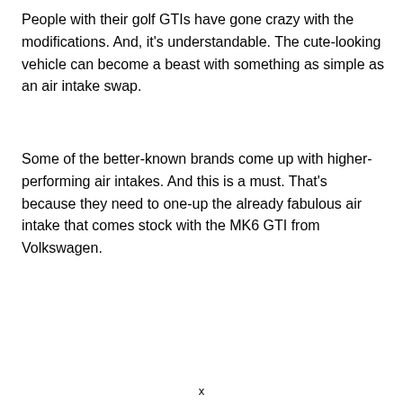People with their golf GTIs have gone crazy with the modifications. And, it's understandable. The cute-looking vehicle can become a beast with something as simple as an air intake swap.
Some of the better-known brands come up with higher-performing air intakes. And this is a must. That's because they need to one-up the already fabulous air intake that comes stock with the MK6 GTI from Volkswagen.
x